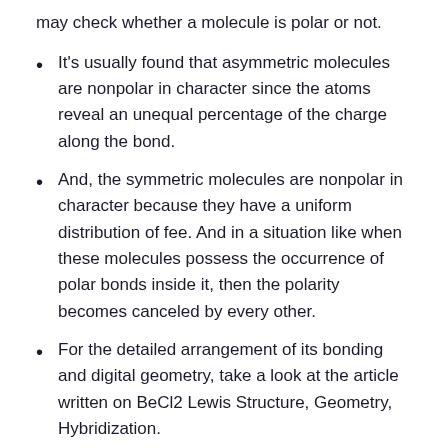may check whether a molecule is polar or not.
It's usually found that asymmetric molecules are nonpolar in character since the atoms reveal an unequal percentage of the charge along the bond.
And, the symmetric molecules are nonpolar in character because they have a uniform distribution of fee. And in a situation like when these molecules possess the occurrence of polar bonds inside it, then the polarity becomes canceled by every other.
For the detailed arrangement of its bonding and digital geometry, take a look at the article written on BeCl2 Lewis Structure, Geometry, Hybridization.
Greater the worth of the dipole moment of a molecule creates its own polarity.